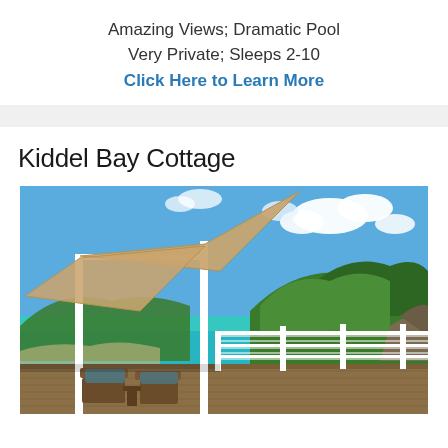Amazing Views; Dramatic Pool
Very Private; Sleeps 2-10
Click Here to Learn More
Kiddel Bay Cottage
[Figure (photo): Outdoor deck of Kiddel Bay Cottage with tan shade sails overhead, white railing, wicker chairs, and a panoramic view of turquoise bay and green hills under blue sky with clouds.]